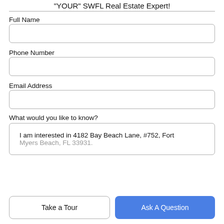"YOUR" SWFL Real Estate Expert!
Full Name
Phone Number
Email Address
What would you like to know?
I am interested in 4182 Bay Beach Lane, #752, Fort Myers Beach, FL 33931.
Take a Tour
Ask A Question